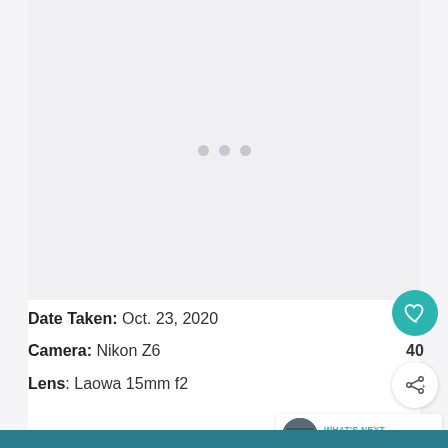[Figure (photo): Loading placeholder with three gray dots on a light gray background, representing an image being loaded.]
Date Taken: Oct. 23, 2020
Camera: Nikon Z6
Lens: Laowa 15mm f2